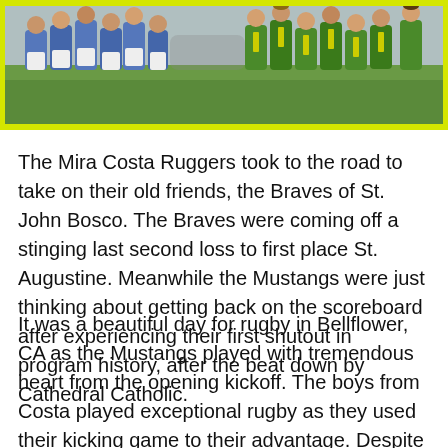[Figure (photo): Rugby scrum photo showing two teams competing — players in blue/white on the left and players in green/yellow on the right, on a grass field.]
The Mira Costa Ruggers took to the road to take on their old friends, the Braves of St. John Bosco. The Braves were coming off a stinging last second loss to first place St. Augustine. Meanwhile the Mustangs were just thinking about getting back on the scoreboard after experiencing their first shutout in program history, after the beat down by Cathedral Catholic.
It was a beautiful day for rugby in Bellflower, CA as the Mustangs played with tremendous heart from the opening kickoff. The boys from Costa played exceptional rugby as they used their kicking game to their advantage. Despite having the ball inside the Braves 22 for most of the first 15 minutes of the match the Mustangs could not punch it in. Finally in what would be